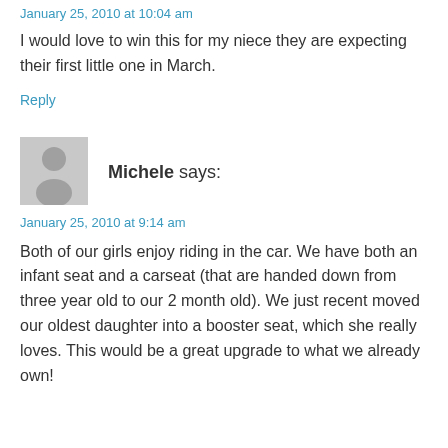January 25, 2010 at 10:04 am
I would love to win this for my niece they are expecting their first little one in March.
Reply
[Figure (illustration): Gray placeholder avatar icon showing a silhouette of a person]
Michele says:
January 25, 2010 at 9:14 am
Both of our girls enjoy riding in the car. We have both an infant seat and a carseat (that are handed down from three year old to our 2 month old). We just recent moved our oldest daughter into a booster seat, which she really loves. This would be a great upgrade to what we already own!